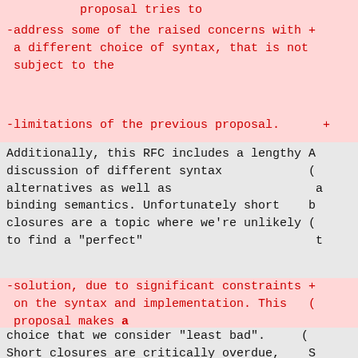proposal tries to
-address some of the raised concerns with a different choice of syntax, that is not subject to the
-limitations of the previous proposal.
Additionally, this RFC includes a lengthy discussion of different syntax alternatives as well as binding semantics. Unfortunately short closures are a topic where we're unlikely to find a "perfect"
-solution, due to significant constraints on the syntax and implementation. This proposal makes a
choice that we consider "least bad". Short closures are critically overdue, and at some point we'll have to make a compromise here, rather